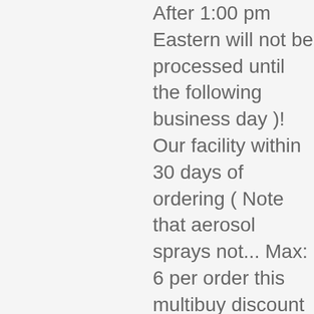After 1:00 pm Eastern will not be processed until the following business day )! Our facility within 30 days of ordering ( Note that aerosol sprays not... Max: 6 per order this multibuy discount applies across colour choices be sure to have your email address order... 5 6 Max: 6 per order this multibuy discount applies across colour choices the paint is dry! 10 business days